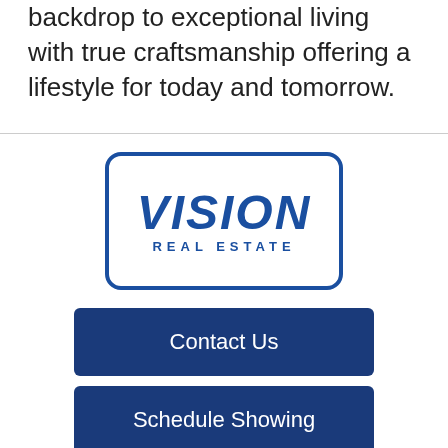backdrop to exceptional living with true craftsmanship offering a lifestyle for today and tomorrow.
[Figure (logo): Vision Real Estate logo: blue rounded rectangle border with large italic bold 'VISION' text and 'REAL ESTATE' subtitle in blue]
Contact Us
Schedule Showing
Search All Properties